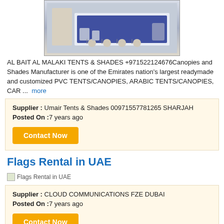[Figure (photo): Photo of a tent/canopy exhibition display with blue and white booth setup]
AL BAIT AL MALAKI TENTS & SHADES +971522124676Canopies and Shades Manufacturer is one of the Emirates nation's largest readymade and customized PVC TENTS/CANOPIES, ARABIC TENTS/CANOPIES, CAR ... more
Supplier : Umair Tents & Shades 00971557781265 SHARJAH
Posted On :7 years ago
[Contact Now]
Flags Rental in UAE
[Figure (photo): Flags Rental in UAE product image placeholder]
Supplier : CLOUD COMMUNICATIONS FZE DUBAI
Posted On :7 years ago
[Contact Now]
FUCHS ECOCUT 500-SERIES Thread-cutting oils with high EP performance.